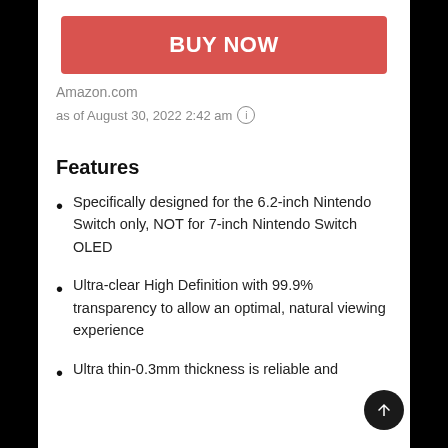[Figure (other): BUY NOW button in red/coral color]
Amazon.com
as of August 30, 2022 2:42 am ⓘ
Features
Specifically designed for the 6.2-inch Nintendo Switch only, NOT for 7-inch Nintendo Switch OLED
Ultra-clear High Definition with 99.9% transparency to allow an optimal, natural viewing experience
Ultra thin-0.3mm thickness is reliable and